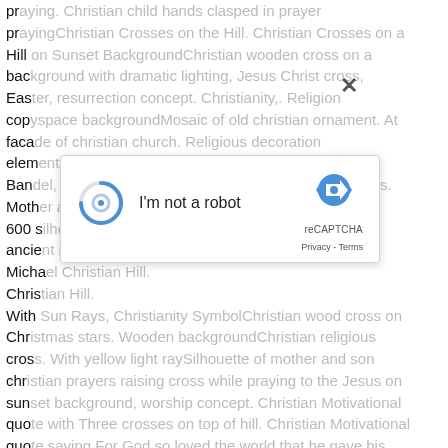praying. Christian child hands clasped in prayer prayingChristian Crosses on the Hill. Christian Crosses on a Hill on Sunset BackgroundChristian wooden cross on a background with dramatic lighting, Jesus Christ cross, Easter, resurrection concept. Christianity,. Religion copyspace backgroundMosaic of old christian ornament. At facade of christian church. Religious decoration elementChristian Bandel Church. Christian Church at Bandel, West Bengal, IndiaChristian family walks to cross. Mother and father and their children. Christian art of 600 s... ancient... religious Micha... Christian... Hill. With Sun Rays, Christianity SymbolChristian wood cross on Christmas stars. Wooden backgroundChristian religious cross. With yellow light raySilhouette of mother and son christian prayers raising cross while praying to the Jesus on sunset background, worship concept. Christian Motivational quote with Three crosses on top of hill. Christian Motivational quote saying For God so loved the world that he gave his only begotten SonCross against the sky. Easter. Christian symbol. Cross against the sky. Happy Easter. Christian symbolChristian child kneeling praying. OutdoorsChristian family. Father and child in loving gesture over Christian cross and rays of lightSilhouette of young couple looking at each
[Figure (screenshot): reCAPTCHA dialog box with 'I'm not a robot' checkbox, spinning blue circle icon on the left, reCAPTCHA logo and branding on the right, Privacy and Terms links at the bottom right. A close (X) button appears in the upper right area of the overlay.]